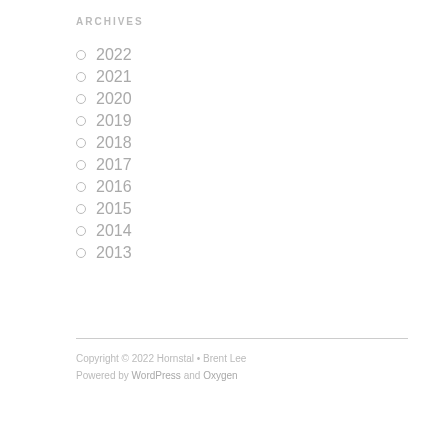ARCHIVES
2022
2021
2020
2019
2018
2017
2016
2015
2014
2013
Copyright © 2022 Hornstal • Brent Lee
Powered by WordPress and Oxygen